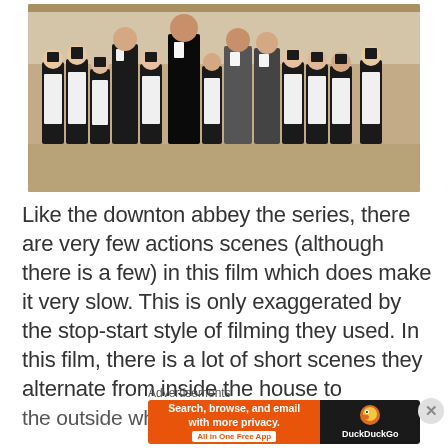[Figure (photo): Group photo of Downton Abbey cast in period costume — maids in black dresses with white aprons, butlers in formal attire, standing in front of a grand estate building]
Like the downton abbey the series, there are very few actions scenes (although there is a few) in this film which does make it very slow. This is only exaggerated by the stop-start style of filming they used. In this film, there is a lot of short scenes they alternate from inside the house to the outside which they...
Advertisements
[Figure (screenshot): DuckDuckGo advertisement banner: orange left section reading 'Search, browse, and email with more privacy. All in One Free App' and dark right section with DuckDuckGo duck logo and text 'DuckDuckGo']